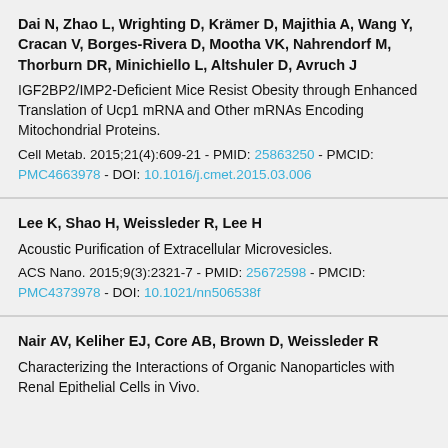Dai N, Zhao L, Wrighting D, Krämer D, Majithia A, Wang Y, Cracan V, Borges-Rivera D, Mootha VK, Nahrendorf M, Thorburn DR, Minichiello L, Altshuler D, Avruch J
IGF2BP2/IMP2-Deficient Mice Resist Obesity through Enhanced Translation of Ucp1 mRNA and Other mRNAs Encoding Mitochondrial Proteins.
Cell Metab. 2015;21(4):609-21 - PMID: 25863250 - PMCID: PMC4663978 - DOI: 10.1016/j.cmet.2015.03.006
Lee K, Shao H, Weissleder R, Lee H
Acoustic Purification of Extracellular Microvesicles.
ACS Nano. 2015;9(3):2321-7 - PMID: 25672598 - PMCID: PMC4373978 - DOI: 10.1021/nn506538f
Nair AV, Keliher EJ, Core AB, Brown D, Weissleder R
Characterizing the Interactions of Organic Nanoparticles with Renal Epithelial Cells in Vivo.